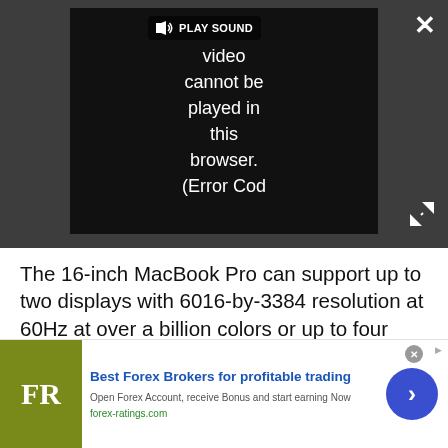[Figure (screenshot): Video player showing error message: 'Video cannot be played in this browser. (Error Cod' with play sound button and close/expand controls on dark gray background]
The 16-inch MacBook Pro can support up to two displays with 6016-by-3384 resolution at 60Hz at over a billion colors or up to four displays with 4096-by-2304 resolution at 60Hz at over a billion colors.
Advertisement
[Figure (infographic): Bottom advertisement banner: FR logo (olive green), 'Best Forex Brokers for profitable trading', 'Open Forex Account, receive Bonus and start earning Now', 'forex-ratings.com', blue circle arrow button]